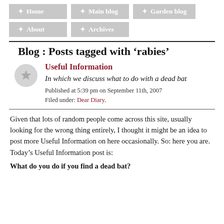Navigation: Home, Main blog, Garden blog, About, Archives
Blog : Posts tagged with 'rabies'
Useful Information
In which we discuss what to do with a dead bat
Published at 5:39 pm on September 11th, 2007
Filed under: Dear Diary.
Given that lots of random people come across this site, usually looking for the wrong thing entirely, I thought it might be an idea to post more Useful Information on here occasionally. So: here you are. Today's Useful Information post is:
What do you do if you find a dead bat?